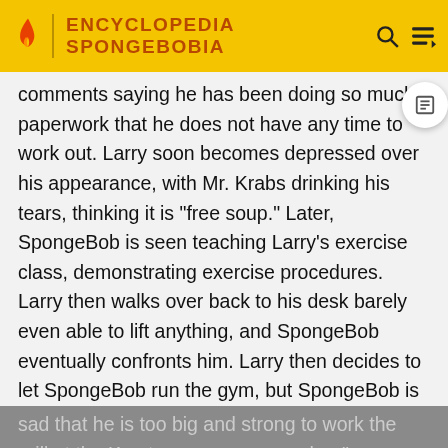ENCYCLOPEDIA SPONGEBOBIA
comments saying he has been doing so much paperwork that he does not have any time to work out. Larry soon becomes depressed over his appearance, with Mr. Krabs drinking his tears, thinking it is "free soup." Later, SpongeBob is seen teaching Larry's exercise class, demonstrating exercise procedures. Larry then walks over back to his desk barely even able to lift anything, and SpongeBob eventually confronts him. Larry then decides to let SpongeBob run the gym, but SpongeBob is sad that he is too big and strong to work the grill at the Krusty [Krab. Larry gives SpongeBob a] hug" and, su[ddenly, SpongeBob's muscl]e returns [to normal. Larry explains he] was overhydrated and that those were "water muscles."
[Figure (screenshot): Advertisement for Owen Wilson 'Secret Headquarters' Original Movie, Now Streaming on Paramount+]